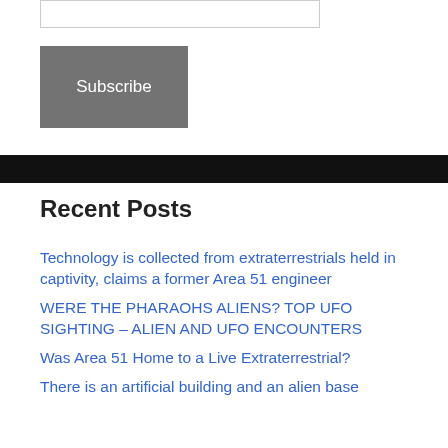[Figure (other): Input text field (form element, partially visible at top)]
Subscribe
Recent Posts
Technology is collected from extraterrestrials held in captivity, claims a former Area 51 engineer
WERE THE PHARAOHS ALIENS? TOP UFO SIGHTING – ALIEN AND UFO ENCOUNTERS
Was Area 51 Home to a Live Extraterrestrial?
There is an artificial building and an alien base